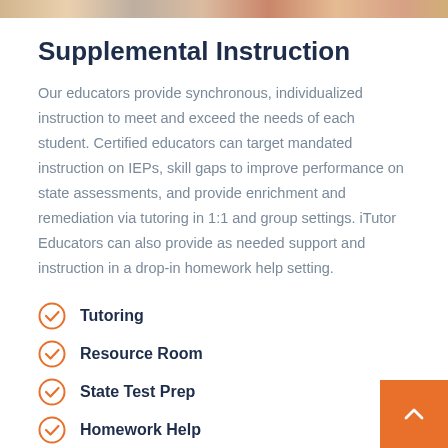[Figure (photo): Top strip image showing students or people, cropped at the top of the page]
Supplemental Instruction
Our educators provide synchronous, individualized instruction to meet and exceed the needs of each student. Certified educators can target mandated instruction on IEPs, skill gaps to improve performance on state assessments, and provide enrichment and remediation via tutoring in 1:1 and group settings. iTutor Educators can also provide as needed support and instruction in a drop-in homework help setting.
Tutoring
Resource Room
State Test Prep
Homework Help